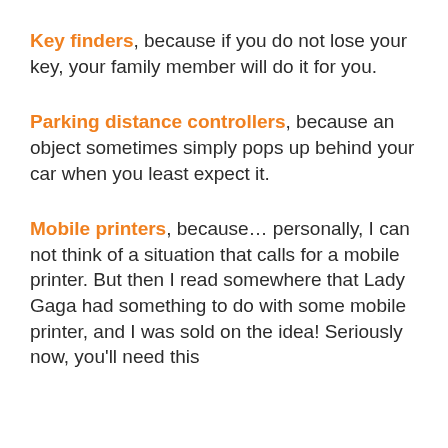Key finders, because if you do not lose your key, your family member will do it for you.
Parking distance controllers, because an object sometimes simply pops up behind your car when you least expect it.
Mobile printers, because... personally, I can not think of a situation that calls for a mobile printer. But then I read somewhere that Lady Gaga had something to do with some mobile printer, and I was sold on the idea! Seriously now, you'll need this